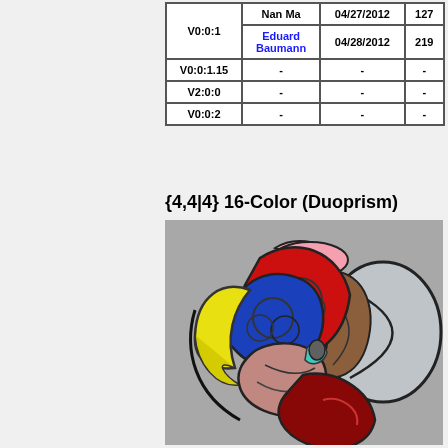|  | Nan Ma | 04/27/2012 | 127 |
| --- | --- | --- | --- |
| V0:0:1 | Eduard Baumann | 04/28/2012 | 219 |
| V0:0:1.15 | - | - | - |
| V2:0:0 | - | - | - |
| V0:0:2 | - | - | - |
{4,4|4} 16-Color (Duoprism)
[Figure (illustration): 3D rendering of a {4,4|4} 16-Color Duoprism shape showing colored spherical segments in red, blue, yellow, brown, pink, mauve/salmon, and transparent/white, with black outlines, on a gray background.]